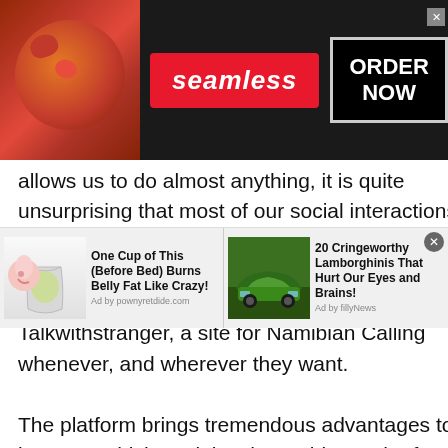[Figure (screenshot): Seamless food delivery advertisement banner with pizza image on left, red Seamless logo in center, and ORDER NOW button on right]
allows us to do almost anything, it is quite unsurprising that most of our social interactions have moved to digital platforms such as texting, chatting, or video calling. People who crave connection can log onto Talkwithstranger, a site for Namibian Calling whenever, and wherever they want.

The platform brings tremendous advantages to its users which explains the rapid growth of users on a daily basis. Here is why users pick our online chatting platform to interact with strangers:
[Figure (screenshot): Bottom advertisement bar with two ads: 'One Cup of This (Before Bed) Burns Belly Fat Like Crazy!' with drink image, and '20 Cringeworthy Lamborghinis That Hurt Our Eyes and Brains!' with green Lamborghini image]